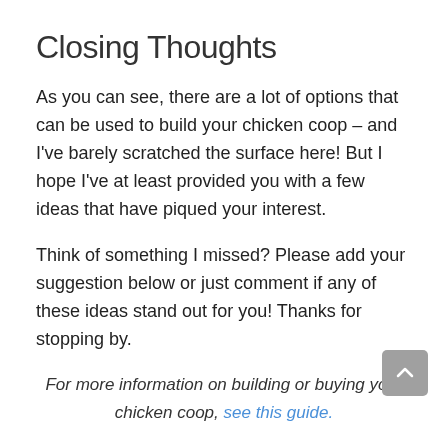Closing Thoughts
As you can see, there are a lot of options that can be used to build your chicken coop – and I've barely scratched the surface here! But I hope I've at least provided you with a few ideas that have piqued your interest.
Think of something I missed? Please add your suggestion below or just comment if any of these ideas stand out for you! Thanks for stopping by.
For more information on building or buying your chicken coop, see this guide.